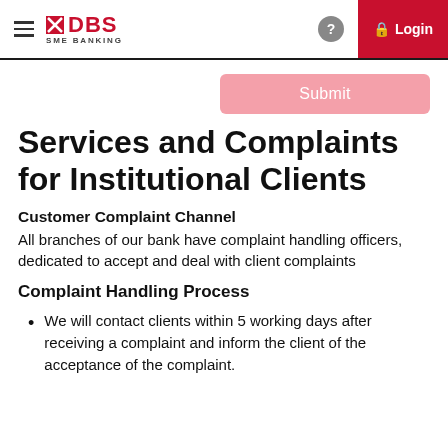DBS SME BANKING — Login
[Figure (screenshot): Submit button (pink/light red) in top right area of page]
Services and Complaints for Institutional Clients
Customer Complaint Channel
All branches of our bank have complaint handling officers, dedicated to accept and deal with client complaints
Complaint Handling Process
We will contact clients within 5 working days after receiving a complaint and inform the client of the acceptance of the complaint.